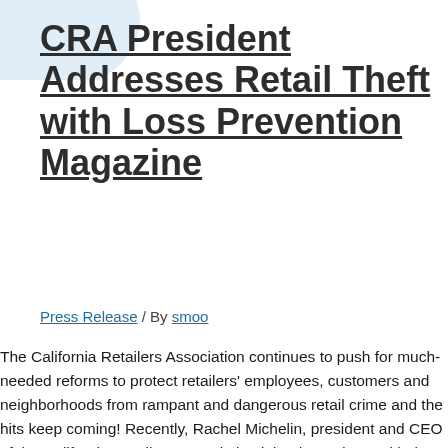CRA President Addresses Retail Theft with Loss Prevention Magazine
Press Release / By smoo
The California Retailers Association continues to push for much-needed reforms to protect retailers' employees, customers and neighborhoods from rampant and dangerous retail crime and the hits keep coming! Recently, Rachel Michelin, president and CEO of the California Retailers Association joined a podcast with the nationally acclaimed Loss Prevention Magazine to discuss what is happening in California with regards to retail theft ...